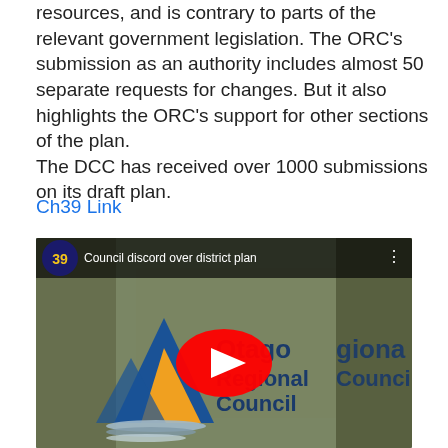resources, and is contrary to parts of the relevant government legislation. The ORC's submission as an authority includes almost 50 separate requests for changes. But it also highlights the ORC's support for other sections of the plan. The DCC has received over 1000 submissions on its draft plan.
Ch39 Link
[Figure (screenshot): YouTube video thumbnail showing 'Council discord over district plan' with Channel 39 logo, showing a photo of the Otago Regional Council sign with a YouTube play button overlay.]